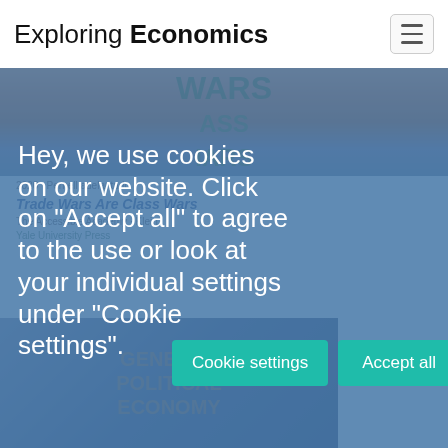Exploring Economics
[Figure (screenshot): Website screenshot showing Exploring Economics header with hamburger menu icon and blurred book cover images in the background]
Hey, we use cookies on our website. Click on "Accept all" to agree to the use or look at your individual settings under "Cookie settings".
Cookie settings | Accept all